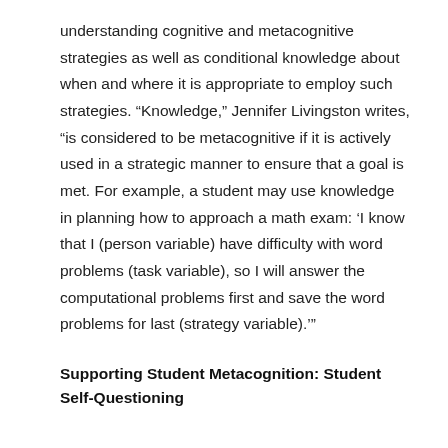understanding cognitive and metacognitive strategies as well as conditional knowledge about when and where it is appropriate to employ such strategies. “Knowledge,” Jennifer Livingston writes, “is considered to be metacognitive if it is actively used in a strategic manner to ensure that a goal is met. For example, a student may use knowledge in planning how to approach a math exam: ‘I know that I (person variable) have difficulty with word problems (task variable), so I will answer the computational problems first and save the word problems for last (strategy variable).’”
Supporting Student Metacognition: Student Self-Questioning